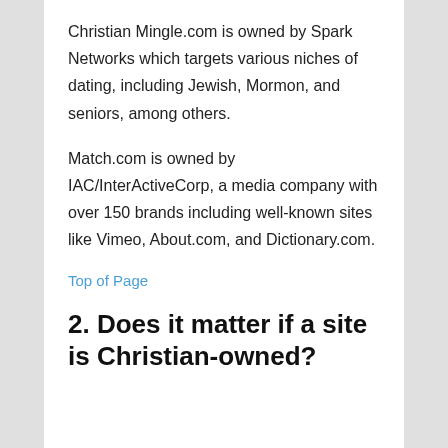Christian Mingle.com is owned by Spark Networks which targets various niches of dating, including Jewish, Mormon, and seniors, among others.
Match.com is owned by IAC/InterActiveCorp, a media company with over 150 brands including well-known sites like Vimeo, About.com, and Dictionary.com.
Top of Page
2. Does it matter if a site is Christian-owned?